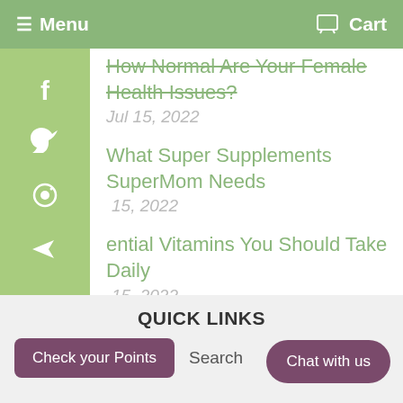≡ Menu  🛒 Cart
How Normal Are Your Female Health Issues?
Jul 15, 2022
What Super Supplements SuperMom Needs
15, 2022
ential Vitamins You Should Take Daily
15, 2022
QUICK LINKS
Check your Points
Search
Chat with us